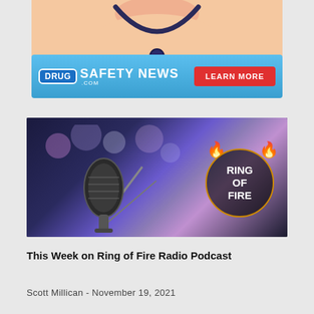[Figure (photo): Partial image of a person with stethoscope, cropped at top of page]
[Figure (other): Drug Safety News .com advertisement banner with blue gradient background, DRUG logo in blue box, SAFETY NEWS text in white, and red LEARN MORE button]
[Figure (photo): Ring of Fire Radio podcast image showing a professional microphone in a dark studio with blurred colorful bokeh lights in background, and Ring of Fire logo with flames on the right side]
This Week on Ring of Fire Radio Podcast
Scott Millican - November 19, 2021